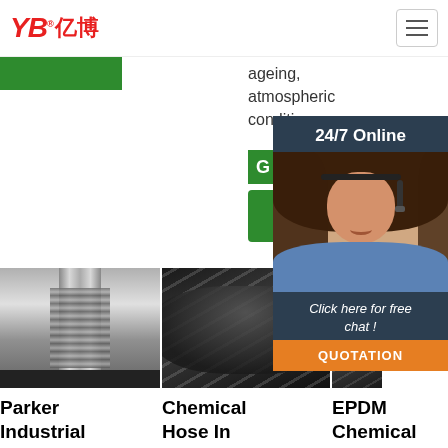YB亿博 logo and navigation
ageing, atmospheric conditions ...
[Figure (photo): 24/7 Online chat agent popup with woman wearing headset, 'Click here for free chat!' text, and QUOTATION button]
Get Price
[Figure (photo): Parker Industrial Hose metal fitting close-up]
[Figure (photo): Chemical Hose In Oklahoma - black rubber hose close-up]
[Figure (illustration): TOP logo icon]
Parker Industrial Hose -
Chemical Hose In Oklahoma
EPDM Chemical Hose - Flexible